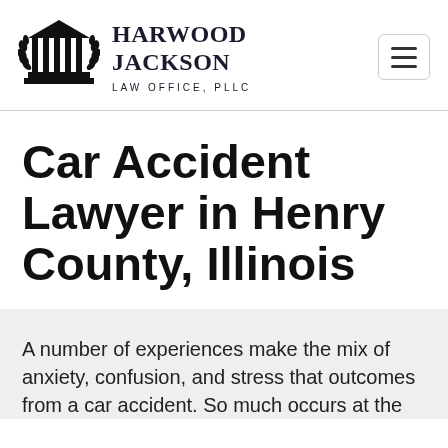HARWOOD JACKSON LAW OFFICE, PLLC
Car Accident Lawyer in Henry County, Illinois
A number of experiences make the mix of anxiety, confusion, and stress that outcomes from a car accident. So much occurs at the